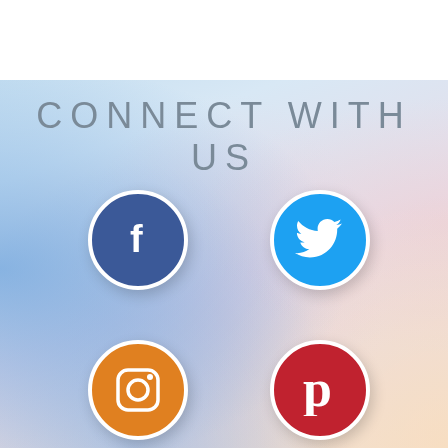CONNECT WITH US
[Figure (illustration): Four social media icons in circles: Facebook (dark blue, f logo), Twitter (light blue, bird logo), Instagram (orange, camera logo), Pinterest (red, p logo) arranged in a 2x2 grid on a watercolor pastel background.]